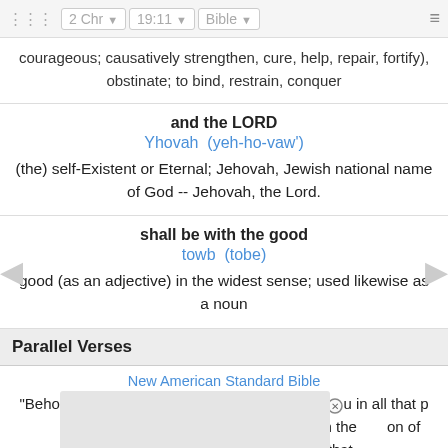⠿  2 Chr  ▾  19:11  ▾  Bible  ▾  ≡
courageous; causatively strengthen, cure, help, repair, fortify), obstinate; to bind, restrain, conquer
and the LORD
Yhovah  (yeh-ho-vaw')
(the) self-Existent or Eternal; Jehovah, Jewish national name of God -- Jehovah, the Lord.
shall be with the good
towb  (tobe)
good (as an adjective) in the widest sense; used likewise as a noun
Parallel Verses
New American Standard Bible
"Behold, Amariah the chief priest will be over you in all that p                 LORD           Zebadiah the    on of Ishm                                                        that pertai                                                          fficers